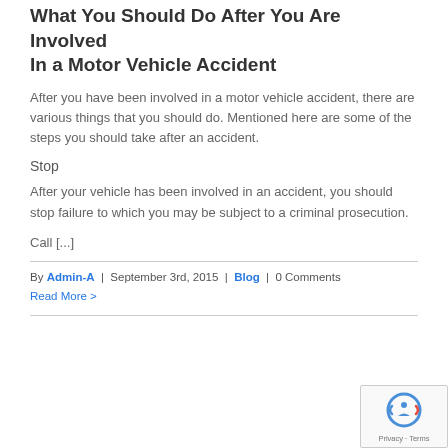What You Should Do After You Are Involved In a Motor Vehicle Accident
After you have been involved in a motor vehicle accident, there are various things that you should do. Mentioned here are some of the steps you should take after an accident.
Stop
After your vehicle has been involved in an accident, you should stop failure to which you may be subject to a criminal prosecution.
Call [...]
By Admin-A | September 3rd, 2015 | Blog | 0 Comments
Read More >